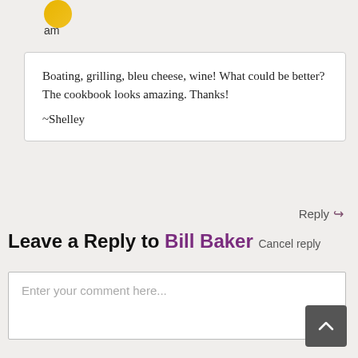am
Boating, grilling, bleu cheese, wine! What could be better? The cookbook looks amazing. Thanks!

~Shelley
Reply ↪
Leave a Reply to Bill Baker Cancel reply
Enter your comment here...